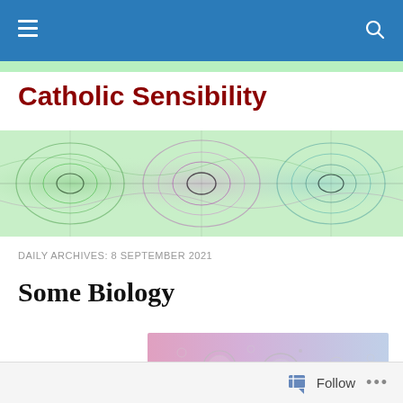Catholic Sensibility — navigation bar with hamburger menu and search icon
Catholic Sensibility
[Figure (illustration): Decorative wave interference pattern banner in greens and purples on light green background]
DAILY ARCHIVES: 8 SEPTEMBER 2021
Some Biology
[Figure (photo): Pink microscopy image showing circular cell-like structures or bubbles against a gradient pink-purple background]
Follow  •••